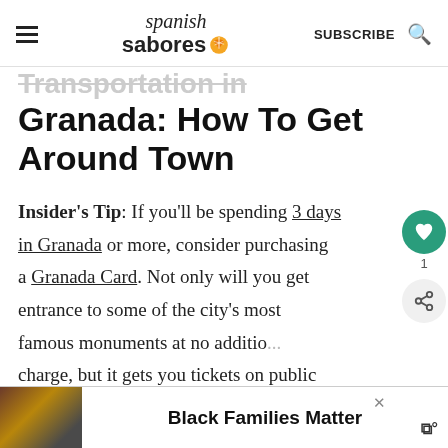Spanish Sabores — SUBSCRIBE
Transportation in Granada: How To Get Around Town
Insider's Tip: If you'll be spending 3 days in Granada or more, consider purchasing a Granada Card. Not only will you get entrance to some of the city's most famous monuments at no additional charge, but it gets you tickets on public transportation...
[Figure (infographic): WHAT'S NEXT widget with food image and text: Top 10 Must-Try Typical...]
[Figure (infographic): Ad banner: Black Families Matter with photo of people and logo]